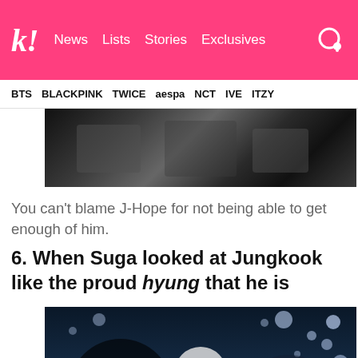k! News  Lists  Stories  Exclusives
BTS  BLACKPINK  TWICE  aespa  NCT  IVE  ITZY
[Figure (photo): Black and white photo of BTS members in dark clothing]
You can't blame J-Hope for not being able to get enough of him.
6. When Suga looked at Jungkook like the proud hyung that he is
[Figure (photo): Video thumbnail showing two BTS members smiling with bokeh blue lights in background, with a play button overlay]